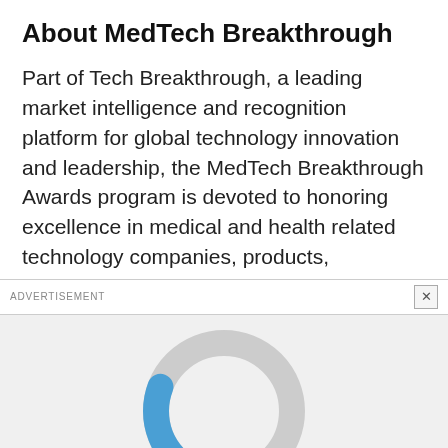About MedTech Breakthrough
Part of Tech Breakthrough, a leading market intelligence and recognition platform for global technology innovation and leadership, the MedTech Breakthrough Awards program is devoted to honoring excellence in medical and health related technology companies, products,
ADVERTISEMENT
[Figure (other): Loading spinner / donut progress indicator shown inside an advertisement container, partially filled with blue at the bottom, rest grey. A red back-to-top button with a white up-arrow chevron is in the bottom-right corner.]
services and people. The MedTech Breakthrough